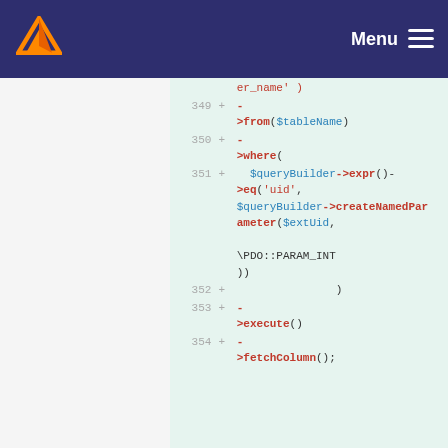Menu navigation header with logo
[Figure (screenshot): Code diff view showing PHP code lines 349-354 with added lines using query builder pattern including ->from($tableName), ->where($queryBuilder->expr()->eq('uid', $queryBuilder->createNamedParameter($extUid, \PDO::PARAM_INT))), ->execute(), ->fetchColumn()]